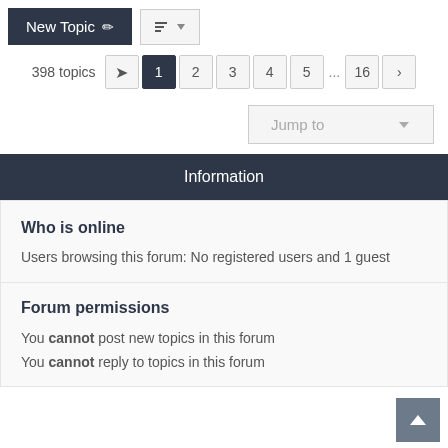New Topic
398 topics  1 2 3 4 5 ... 16
Jump to
Information
Who is online
Users browsing this forum: No registered users and 1 guest
Forum permissions
You cannot post new topics in this forum
You cannot reply to topics in this forum